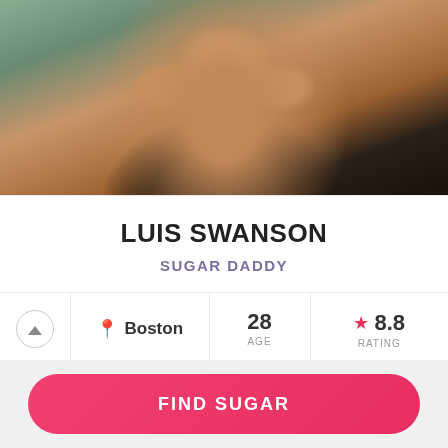[Figure (photo): Profile photo of Luis Swanson, a young man with glasses and a beard, close-up selfie with greenish background]
LUIS SWANSON
SUGAR DADDY
Boston  28 AGE  ★ 8.8 RATING
34%
SEND MESSAGE
FIND SUGAR